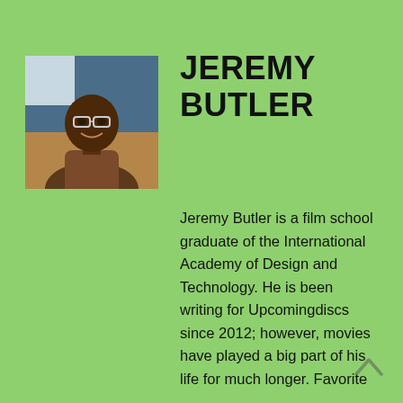[Figure (photo): Headshot photo of Jeremy Butler, a man wearing glasses, smiling, in an indoor setting with blue background.]
JEREMY BUTLER
Jeremy Butler is a film school graduate of the International Academy of Design and Technology. He is been writing for Upcomingdiscs since 2012; however, movies have played a big part of his life for much longer. Favorite